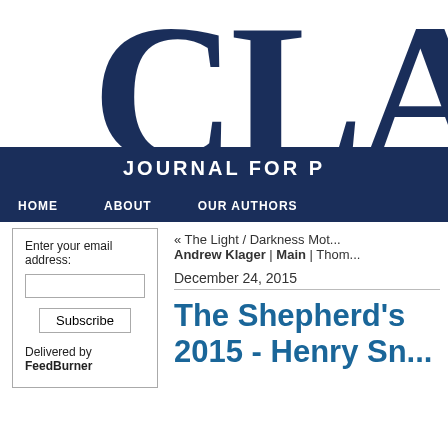[Figure (logo): Partial logo showing large dark navy letters 'CLA' in serif font, partially cut off on the right]
JOURNAL FOR P
HOME   ABOUT   OUR AUTHORS
Enter your email address:
Subscribe
Delivered by FeedBurner
« The Light / Darkness Mot... Andrew Klager | Main | Thom...
December 24, 2015
The Shepherd's 2015 - Henry Sn...